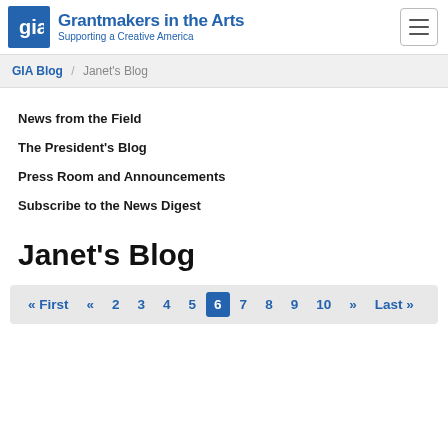Grantmakers in the Arts — Supporting a Creative America
GIA Blog / Janet's Blog
News from the Field
The President's Blog
Press Room and Announcements
Subscribe to the News Digest
Janet's Blog
« First « 2 3 4 5 6 7 8 9 10 » Last »